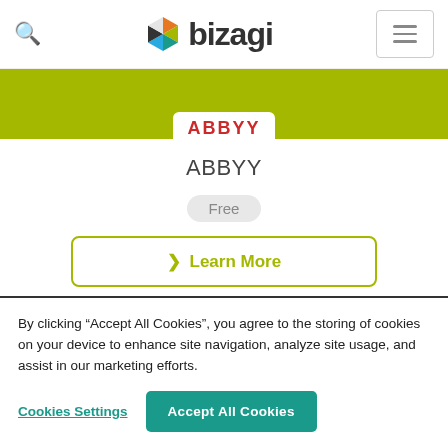[Figure (logo): Bizagi logo with hexagon icon and search icon on left, hamburger menu on right]
[Figure (screenshot): ABBYY partner card showing ABBYY logo on olive/green banner, ABBYY title, Free badge, and Learn More button]
By clicking “Accept All Cookies”, you agree to the storing of cookies on your device to enhance site navigation, analyze site usage, and assist in our marketing efforts.
Cookies Settings
Accept All Cookies